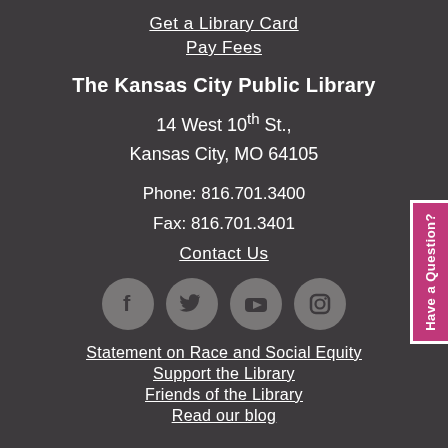Get a Library Card
Pay Fees
The Kansas City Public Library
14 West 10th St., Kansas City, MO 64105
Phone: 816.701.3400
Fax: 816.701.3401
Contact Us
[Figure (illustration): Four social media icons in grey circles: Facebook, Twitter, YouTube, Instagram]
Statement on Race and Social Equity
Support the Library
Friends of the Library
Read our blog